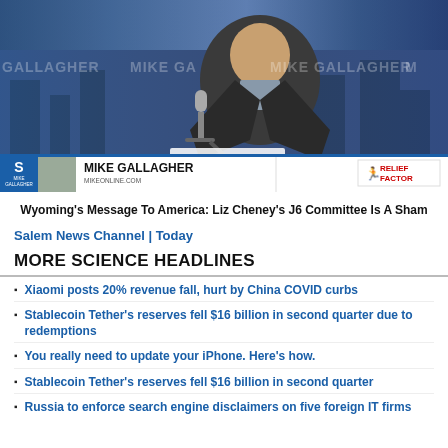[Figure (photo): Mike Gallagher at radio microphone with 'MIKE GALLAGHER' watermark text in background, lower bar shows S logo, 'MIKE GALLAGHER' name plate, and Relief Factor logo]
Wyoming's Message To America: Liz Cheney's J6 Committee Is A Sham
Salem News Channel | Today
MORE SCIENCE HEADLINES
Xiaomi posts 20% revenue fall, hurt by China COVID curbs
Stablecoin Tether's reserves fell $16 billion in second quarter due to redemptions
You really need to update your iPhone. Here's how.
Stablecoin Tether's reserves fell $16 billion in second quarter
Russia to enforce search engine disclaimers on five foreign IT firms